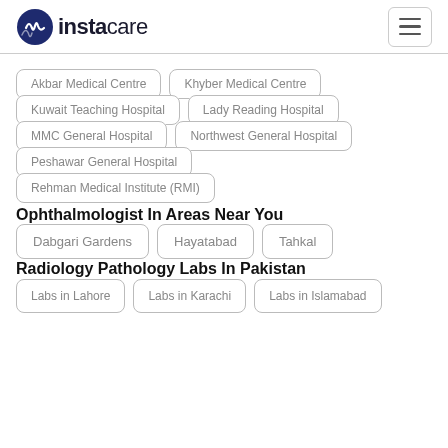[Figure (logo): Instacare logo with heartbeat icon]
Akbar Medical Centre
Khyber Medical Centre
Kuwait Teaching Hospital
Lady Reading Hospital
MMC General Hospital
Northwest General Hospital
Peshawar General Hospital
Rehman Medical Institute (RMI)
Ophthalmologist In Areas Near You
Dabgari Gardens
Hayatabad
Tahkal
Radiology Pathology Labs In Pakistan
Labs in Lahore
Labs in Karachi
Labs in Islamabad